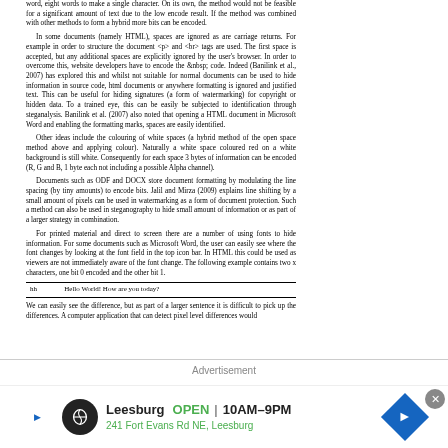word, eight words to make a single character. On its own, the method would not be feasible for a significant amount of text due to the low encode result. If the method was combined with other methods to form a hybrid more bits can be encoded.
In some documents (namely HTML), spaces are ignored as are carriage returns. For example in order to structure the document <p> and <br> tags are used. The first space is accepted, but any additional spaces are explicitly ignored by the user's browser. In order to overcome this, website developers have to encode the &nbsp; code. Indeed (Banilink et al., 2007) has explored this and whilst not suitable for normal documents can be used to hide information in source code, html documents or anywhere formatting is ignored and justified text. This can be useful for hiding signatures (a form of watermarking) for copyright or hidden data. To a trained eye, this can be easily be subjected to identification through steganalysis. Banilink et al. (2007) also noted that opening a HTML document in Microsoft Word and enabling the formatting marks, spaces are easily identified.
Other ideas include the colouring of white spaces (a hybrid method of the open space method above and applying colour). Naturally a white space coloured red on a white background is still white. Consequently for each space 3 bytes of information can be encoded (R, G and B, 1 byte each not including a possible Alpha channel).
Documents such as ODF and DOCX store document formatting by modulating the line spacing (by tiny amounts) to encode bits. Jalil and Mirza (2009) explains line shifting by a small amount of pixels can be used in watermarking as a form of document protection. Such a method can also be used in steganography to hide small amount of information or as part of a larger strategy in combination.
For printed material and direct to screen there are a number of using fonts to hide information. For some documents such as Microsoft Word, the user can easily see where the font changes by looking at the font field in the top icon bar. In HTML this could be used as viewers are not immediately aware of the font change. The following example contains two x characters, one bit 0 encoded and the other bit 1.
| hh | Hello World! How are you today? |
We can easily see the difference, but as part of a larger sentence it is difficult to pick up the differences. A computer application that can detect pixel level differences would
Advertisement
[Figure (infographic): Advertisement banner for Leesburg store showing logo, open hours 10AM-9PM, address 241 Fort Evans Rd NE Leesburg]